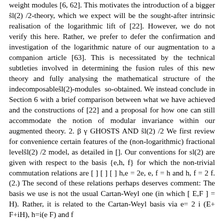weight modules [6, 62]. This motivates the introduction of a bigger s̃l(2) /2-theory, which we expect will be the sought-after intrinsic realisation of the logarithmic lift of [22]. However, we do not verify this here. Rather, we prefer to defer the confirmation and investigation of the logarithmic nature of our augmentation to a companion article [63]. This is necessitated by the technical subtleties involved in determining the fusion rules of this new theory and fully analysing the mathematical structure of the indecomposables̃l(2)-modules so-obtained. We instead conclude in Section 6 with a brief comparison between what we have achieved and the constructions of [22] and a proposal for how one can still accommodate the notion of modular invariance within our augmented theory. 2. β γ GHOSTS AND s̃l(2) /2 We first review for convenience certain features of the (non-logarithmic) fractional levels̃l(2) /2 model, as detailed in []. Our conventions for sl(2) are given with respect to the basis {e,h, f} for which the non-trivial commutation relations are [ ] [ ] [ ] h,e = 2e, e, f = h and h, f = 2 f. (2.) The second of these relations perhaps deserves comment: The basis we use is not the usual Cartan-Weyl one (in which [ E,F ] = H). Rather, it is related to the Cartan-Weyl basis via e= 2 i (E+ F+iH), h=i(e F) and f